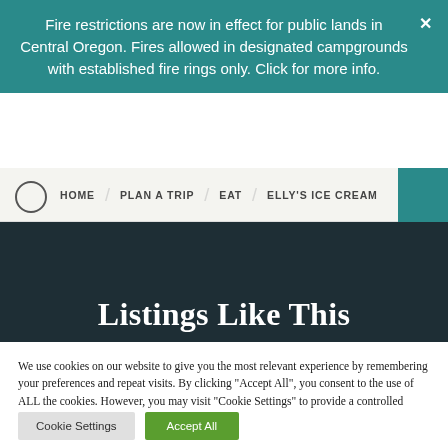Fire restrictions are now in effect for public lands in Central Oregon. Fires allowed in designated campgrounds with established fire rings only. Click for more info.
HOME / PLAN A TRIP / EAT / ELLY'S ICE CREAM
Listings Like This
We use cookies on our website to give you the most relevant experience by remembering your preferences and repeat visits. By clicking "Accept All", you consent to the use of ALL the cookies. However, you may visit "Cookie Settings" to provide a controlled consent.
Cookie Settings
Accept All